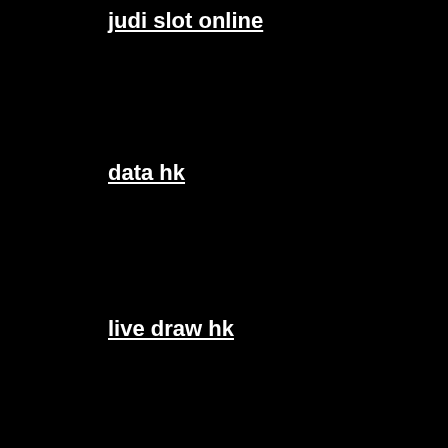judi slot online
data hk
live draw hk
situs judi slot online terbaik
slot online
pengeluaran hk
Slot777 Login